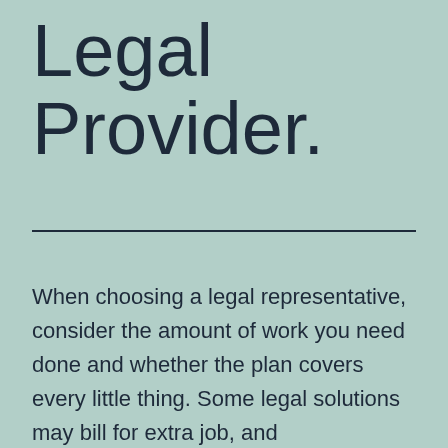Legal Provider.
When choosing a legal representative, consider the amount of work you need done and whether the plan covers every little thing. Some legal solutions may bill for extra job, and